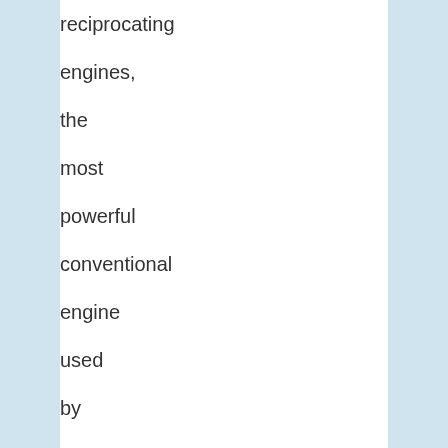reciprocating engines, the most powerful conventional engine used by US military aircraft at the time and, two J33 jets. Four of the